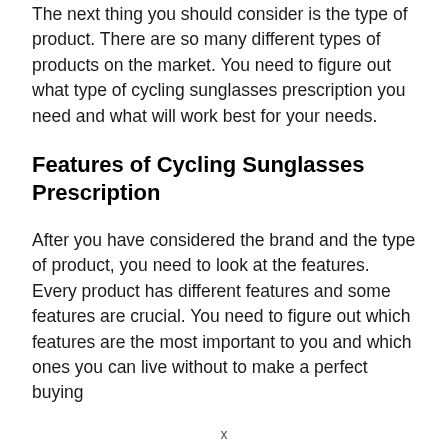The next thing you should consider is the type of product. There are so many different types of products on the market. You need to figure out what type of cycling sunglasses prescription you need and what will work best for your needs.
Features of Cycling Sunglasses Prescription
After you have considered the brand and the type of product, you need to look at the features. Every product has different features and some features are crucial. You need to figure out which features are the most important to you and which ones you can live without to make a perfect buying
x